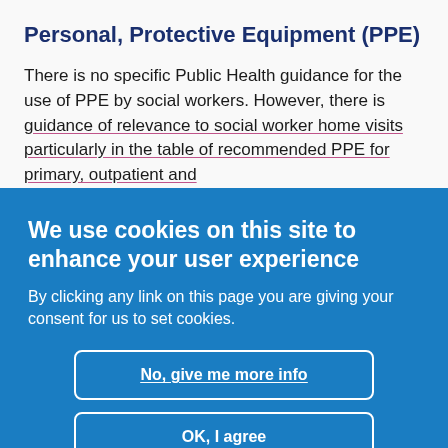Personal, Protective Equipment (PPE)
There is no specific Public Health guidance for the use of PPE by social workers. However, there is guidance of relevance to social worker home visits particularly in the table of recommended PPE for primary, outpatient and
We use cookies on this site to enhance your user experience
By clicking any link on this page you are giving your consent for us to set cookies.
No, give me more info
OK, I agree